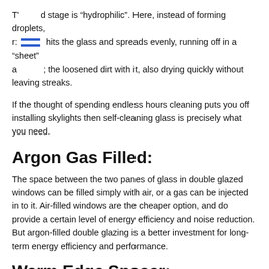T' d stage is "hydrophilic". Here, instead of forming droplets, r: hits the glass and spreads evenly, running off in a "sheet" a ; the loosened dirt with it, also drying quickly without leaving streaks.
If the thought of spending endless hours cleaning puts you off installing skylights then self-cleaning glass is precisely what you need.
Argon Gas Filled:
The space between the two panes of glass in double glazed windows can be filled simply with air, or a gas can be injected in to it. Air-filled windows are the cheaper option, and do provide a certain level of energy efficiency and noise reduction. But argon-filled double glazing is a better investment for long-term energy efficiency and performance.
Warm Edge Spacer:
SWISSPACER is the UK and Ireland's leading warm edge spacer bar. It's tried and tested to give the best thermal performance and long-lasting results. SWISSPACER is ideal for double and triple glazing,